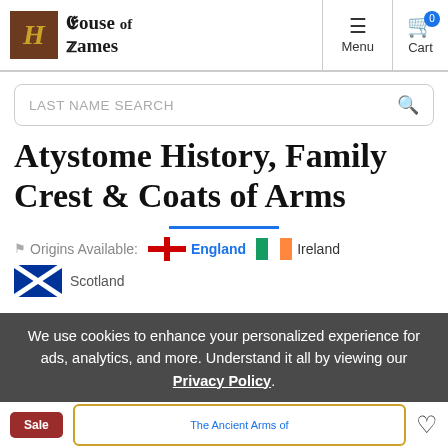House of Names — Menu | Cart
LAST NAME SEARCH
Atystome History, Family Crest & Coats of Arms
Origins Available: England  Ireland
Scotland
We use cookies to enhance your personalized experience for ads, analytics, and more. Understand it all by viewing our Privacy Policy.
Sale   The Ancient Arms of